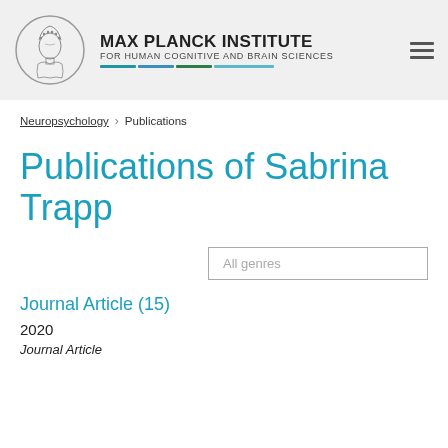MAX PLANCK INSTITUTE FOR HUMAN COGNITIVE AND BRAIN SCIENCES
Neuropsychology > Publications
Publications of Sabrina Trapp
All genres
Journal Article (15)
2020
Journal Article